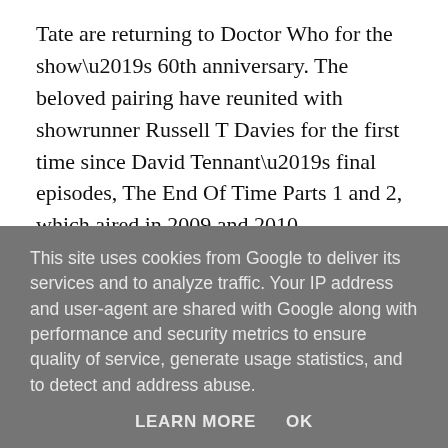Tate are returning to Doctor Who for the show’s 60th anniversary. The beloved pairing have reunited with showrunner Russell T Davies for the first time since David Tennant’s final episodes, The End Of Time Parts 1 and 2, which aired in 2009 and 2010.
David, of course, made an appearance in the 50th Anniversary special The Day Of The Doctor, alongside Matt Smith, Jenna Coleman, Billie Piper and John Hurt. He and Catherine have also reunited for a series of Tenth Doctor audio dramas for Big Finish.
The Doctor and Donna parted ways when the Doctor had to wipe Donna's memory, making her forget him, in order to save her life. He left her family with a warning: if ever she remembers, she will die
This site uses cookies from Google to deliver its services and to analyze traffic. Your IP address and user-agent are shared with Google along with performance and security metrics to ensure quality of service, generate usage statistics, and to detect and address abuse.
LEARN MORE    OK